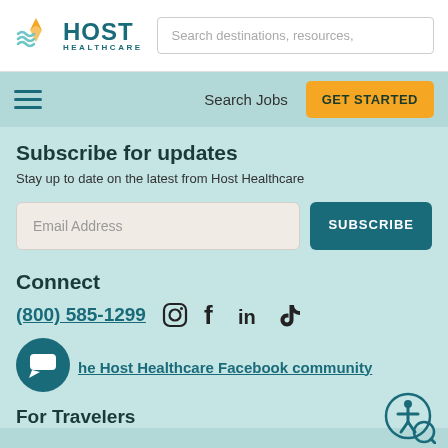[Figure (logo): Host Healthcare logo with teal wave/star icon and teal text]
Search destinations, resources,
Search Jobs
GET STARTED
Subscribe for updates
Stay up to date on the latest from Host Healthcare
Email Address
SUBSCRIBE
Connect
(800) 585-1299
[Figure (illustration): Social media icons: Instagram, Facebook, LinkedIn, TikTok]
[Figure (illustration): Chat bubble icon (teal circle with speech bubble)]
he Host Healthcare Facebook community
[Figure (illustration): Accessibility icon - person in circle with magnifier]
For Travelers